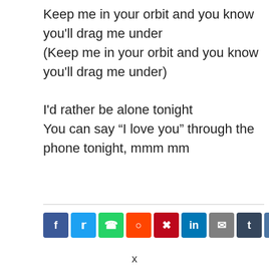Keep me in your orbit and you know you'll drag me under
(Keep me in your orbit and you know you'll drag me under)

I'd rather be alone tonight
You can say “I love you” through the phone tonight, mmm mm
[Figure (other): Row of social media sharing buttons: Facebook, Twitter, WhatsApp, Reddit, Pinterest, LinkedIn, Email, Tumblr, VK, unknown, StumbleUpon]
x